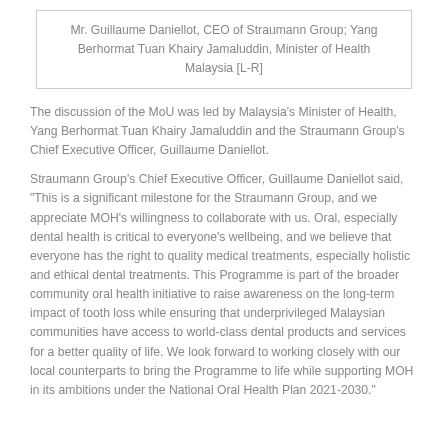Mr. Guillaume Daniellot, CEO of Straumann Group; Yang Berhormat Tuan Khairy Jamaluddin, Minister of Health Malaysia [L-R]
The discussion of the MoU was led by Malaysia's Minister of Health, Yang Berhormat Tuan Khairy Jamaluddin and the Straumann Group's Chief Executive Officer, Guillaume Daniellot.
Straumann Group's Chief Executive Officer, Guillaume Daniellot said, "This is a significant milestone for the Straumann Group, and we appreciate MOH's willingness to collaborate with us. Oral, especially dental health is critical to everyone's wellbeing, and we believe that everyone has the right to quality medical treatments, especially holistic and ethical dental treatments. This Programme is part of the broader community oral health initiative to raise awareness on the long-term impact of tooth loss while ensuring that underprivileged Malaysian communities have access to world-class dental products and services for a better quality of life. We look forward to working closely with our local counterparts to bring the Programme to life while supporting MOH in its ambitions under the National Oral Health Plan 2021-2030."